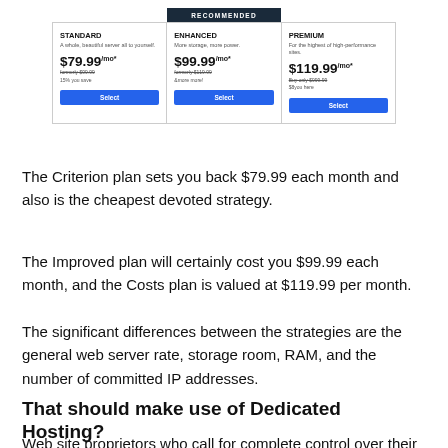[Figure (other): Pricing table showing three hosting plans: Standard at $79.99/mo, Enhanced (Recommended) at $99.99/mo, and Premium at $119.99/mo, each with a Select button.]
The Criterion plan sets you back $79.99 each month and also is the cheapest devoted strategy.
The Improved plan will certainly cost you $99.99 each month, and the Costs plan is valued at $119.99 per month.
The significant differences between the strategies are the general web server rate, storage room, RAM, and the number of committed IP addresses.
That should make use of Dedicated Hosting?
Web site proprietors who call for complete control over their server